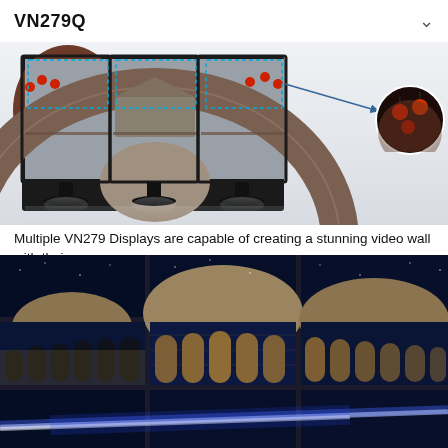VN279Q
[Figure (photo): Three ASUS VN279Q monitors side by side showing a panoramic image of a Chinese circular Tulou building with red lanterns. Dashed blue selection boxes are overlaid on the screens indicating multi-display feature. A zoomed circular inset on the right shows a close-up of the red lanterns area from the rightmost monitor panel.]
Multiple VN279 Displays are capable of creating a stunning video wall with their
[Figure (photo): A 3x3 video wall of monitors displaying the illuminated Colosseum in Rome at night with blue light streaks, showing seamless tiled display capability.]